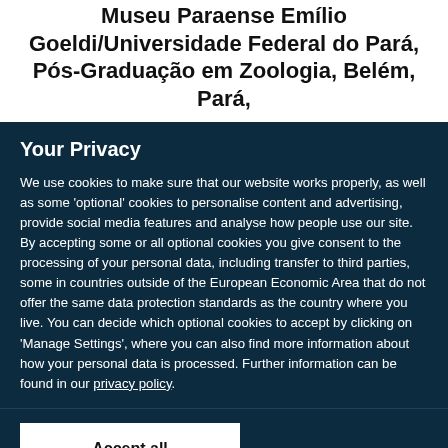Museu Paraense Emílio Goeldi/Universidade Federal do Pará, Pós-Graduação em Zoologia, Belém, Pará,
Your Privacy
We use cookies to make sure that our website works properly, as well as some 'optional' cookies to personalise content and advertising, provide social media features and analyse how people use our site. By accepting some or all optional cookies you give consent to the processing of your personal data, including transfer to third parties, some in countries outside of the European Economic Area that do not offer the same data protection standards as the country where you live. You can decide which optional cookies to accept by clicking on 'Manage Settings', where you can also find more information about how your personal data is processed. Further information can be found in our privacy policy.
Accept all cookies
Manage preferences